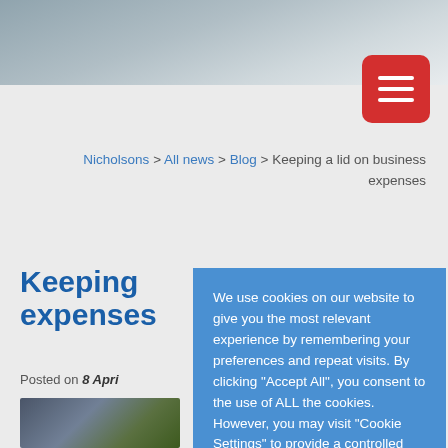[Figure (photo): Top banner photo showing a building exterior or architectural scene in blue-grey tones]
[Figure (other): Red hamburger/menu button icon with three white horizontal lines]
Nicholsons > All news > Blog > Keeping a lid on business expenses
Keeping a lid on business expenses
Posted on 8 April
[Figure (photo): Partial article image showing a building exterior with greenery]
We use cookies on our website to give you the most relevant experience by remembering your preferences and repeat visits. By clicking "Accept All", you consent to the use of ALL the cookies. However, you may visit "Cookie Settings" to provide a controlled consent. Find out more →